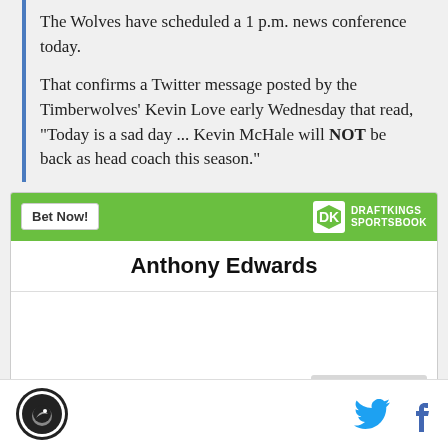The Wolves have scheduled a 1 p.m. news conference today.
That confirms a Twitter message posted by the Timberwolves' Kevin Love early Wednesday that read, "Today is a sad day ... Kevin McHale will NOT be back as head coach this season."
[Figure (infographic): DraftKings Sportsbook widget with 'Bet Now!' button, green header, player name 'Anthony Edwards', and a partially visible row showing 'Team MVP' label and odds '+6000']
SB Nation logo, Twitter icon, Facebook icon